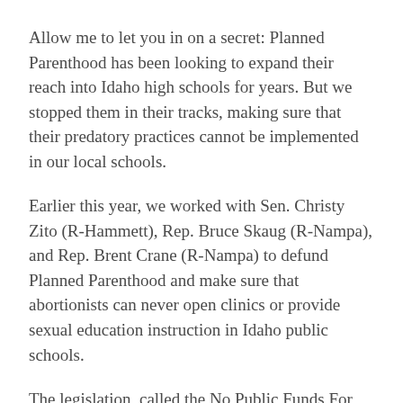Allow me to let you in on a secret: Planned Parenthood has been looking to expand their reach into Idaho high schools for years. But we stopped them in their tracks, making sure that their predatory practices cannot be implemented in our local schools.
Earlier this year, we worked with Sen. Christy Zito (R-Hammett), Rep. Bruce Skaug (R-Nampa), and Rep. Brent Crane (R-Nampa) to defund Planned Parenthood and make sure that abortionists can never open clinics or provide sexual education instruction in Idaho public schools.
The legislation, called the No Public Funds For Abortion Act, was signed by Gov. Brad Little and became law four months ago.
In addition to keeping abortionists out of your child's classroom, the new law also protects your hard-earned tax dollars by making sure government money isn't used to